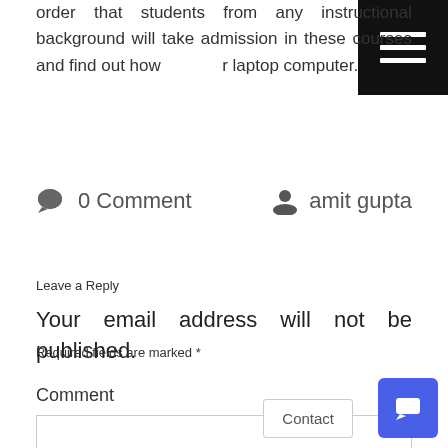order that students from any instructional background will take admission in these courses and find out how [to use their] laptop computer.
0 Comment
amit gupta
Leave a Reply
Your email address will not be published.
Required fields are marked *
Comment